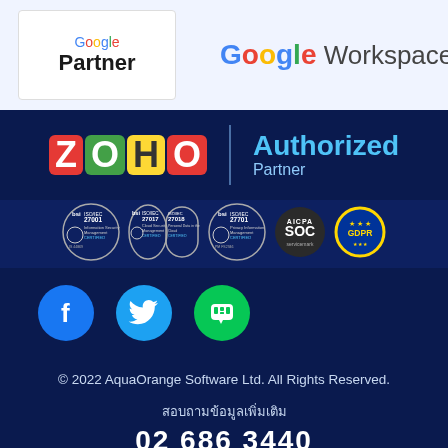[Figure (logo): Google Partner badge logo on white background]
[Figure (logo): Google Workspace logo text]
[Figure (logo): ZOHO Authorized Partner logo on dark blue background]
[Figure (logo): BSI ISO/IEC 27001 Information Security Management Certified badge]
[Figure (logo): BSI ISO/IEC 27017 and 27018 Cloud Security and Personal Data in Cloud Certified badges]
[Figure (logo): BSI ISO/IEC 27101 Privacy Information Management Certified badge]
[Figure (logo): AICPA SOC badge]
[Figure (logo): GDPR EU badge]
[Figure (logo): Facebook social media icon (blue circle with f)]
[Figure (logo): Twitter social media icon (light blue circle with bird)]
[Figure (logo): LINE social media icon (green circle with LINE chat bubble)]
© 2022 AquaOrange Software Ltd. All Rights Reserved.
สอบถามข้อมูลเพิ่มเติม
02 686 3440